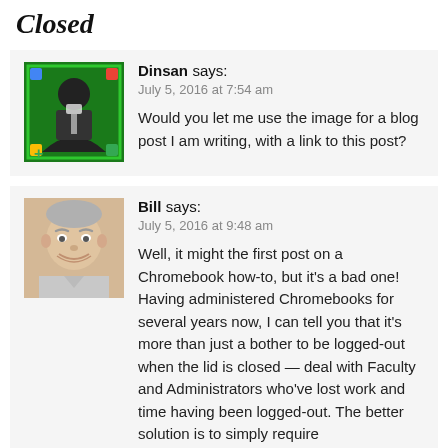Closed
[Figure (photo): Avatar photo of Dinsan — man in green Google I/O badge frame]
Dinsan says:
July 5, 2016 at 7:54 am

Would you let me use the image for a blog post I am writing, with a link to this post?
[Figure (photo): Avatar photo of Bill — older smiling man]
Bill says:
July 5, 2016 at 9:48 am

Well, it might the first post on a Chromebook how-to, but it's a bad one! Having administered Chromebooks for several years now, I can tell you that it's more than just a bother to be logged-out when the lid is closed — deal with Faculty and Administrators who've lost work and time having been logged-out. The better solution is to simply require